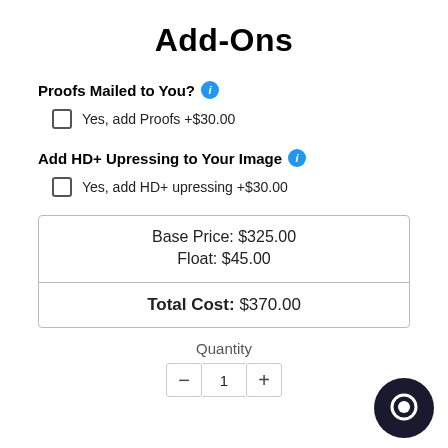Add-Ons
Proofs Mailed to You?
Yes, add Proofs +$30.00
Add HD+ Upressing to Your Image
Yes, add HD+ upressing +$30.00
| Base Price: $325.00 | Float: $45.00 |
| Total Cost: $370.00 |
Quantity
1